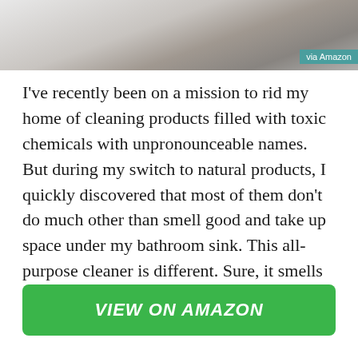[Figure (photo): Blurred grey and brown abstract surface image, likely a product shot background]
via Amazon
I've recently been on a mission to rid my home of cleaning products filled with toxic chemicals with unpronounceable names. But during my switch to natural products, I quickly discovered that most of them don't do much other than smell good and take up space under my bathroom sink. This all-purpose cleaner is different. Sure, it smells good, but it also actually works, even with all-natural ingredients.
VIEW ON AMAZON